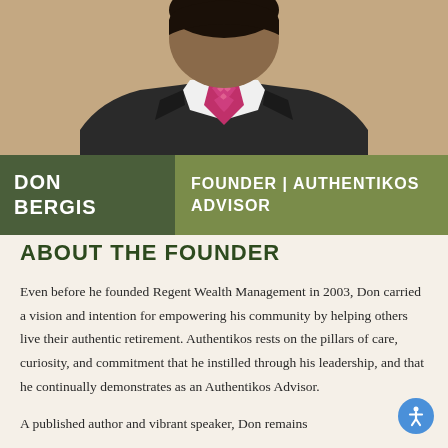[Figure (photo): Professional headshot of Don Bergis wearing a dark suit, white dress shirt, and pink/magenta patterned tie against a neutral background.]
DON BERGIS | FOUNDER | AUTHENTIKOS ADVISOR
ABOUT THE FOUNDER
Even before he founded Regent Wealth Management in 2003, Don carried a vision and intention for empowering his community by helping others live their authentic retirement. Authentikos rests on the pillars of care, curiosity, and commitment that he instilled through his leadership, and that he continually demonstrates as an Authentikos Advisor.
A published author and vibrant speaker, Don remains